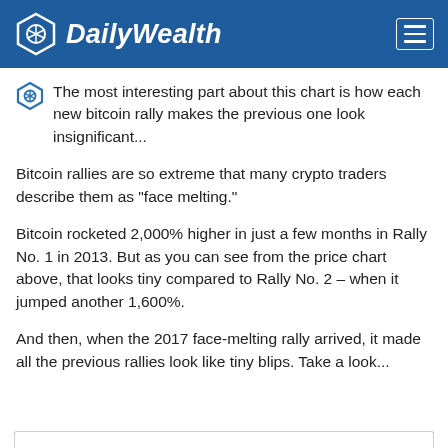DailyWealth
The most interesting part about this chart is how each new bitcoin rally makes the previous one look insignificant...
Bitcoin rallies are so extreme that many crypto traders describe them as "face melting."
Bitcoin rocketed 2,000% higher in just a few months in Rally No. 1 in 2013. But as you can see from the price chart above, that looks tiny compared to Rally No. 2 – when it jumped another 1,600%.
And then, when the 2017 face-melting rally arrived, it made all the previous rallies look like tiny blips. Take a look...